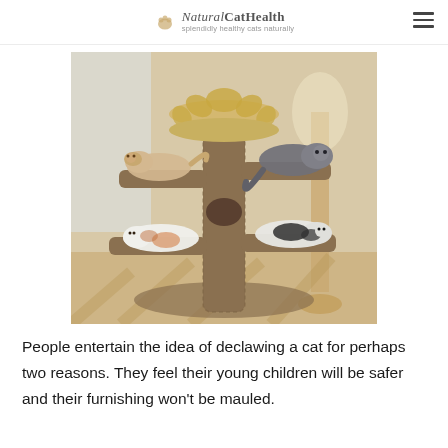NaturalCatHealth — splendidly healthy cats naturally
[Figure (photo): Four cats resting on a large carpeted cat tree/tower with multiple perch levels. Two cats are on upper perches, two on lower perches, all lounging around the central post.]
People entertain the idea of declawing a cat for perhaps two reasons. They feel their young children will be safer and their furnishing won't be mauled.